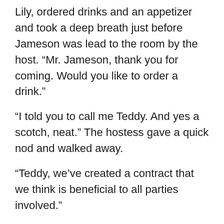Lily, ordered drinks and an appetizer and took a deep breath just before Jameson was lead to the room by the host. “Mr. Jameson, thank you for coming. Would you like to order a drink.”
“I told you to call me Teddy. And yes a scotch, neat.” The hostess gave a quick nod and walked away.
“Teddy, we’ve created a contract that we think is beneficial to all parties involved.”
“Dakota, what do you think?”
“Best work I’ve ever seen. We’ve covered all the issues and started working on the legal problems.”